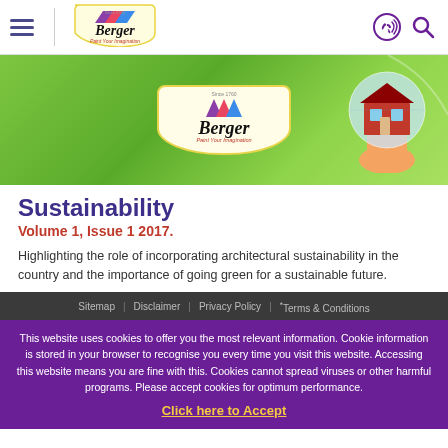Berger Paints navigation header with hamburger menu, logo, phone and search icons
[Figure (photo): Hero banner with green gradient background showing Berger Paints logo in the center and a glass globe with house image on the right]
Sustainability
Volume 1, Issue 1 2017.
Highlighting the role of incorporating architectural sustainability in the country and the importance of going green for a sustainable future.
Sitemap | Disclaimer | Privacy Policy | *Terms & Conditions
This website uses cookies to offer you the most relevant information. Cookie information is stored in your browser to recognise you every time you visit this website. Accessing this website means you are fine with this. Cookies cannot spread viruses or other harmful programs. Please accept cookies for optimum performance. Click here to Accept